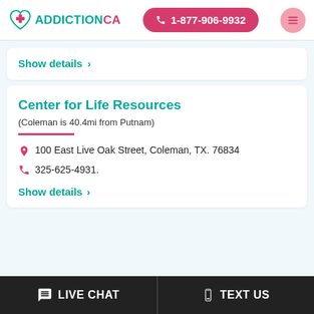[Figure (logo): AddictionCA logo with teal heart and red cross icon]
1-877-906-9932
Show details >
Center for Life Resources
(Coleman is 40.4mi from Putnam)
100 East Live Oak Street, Coleman, TX. 76834
325-625-4931.
Show details >
LIVE CHAT
TEXT US